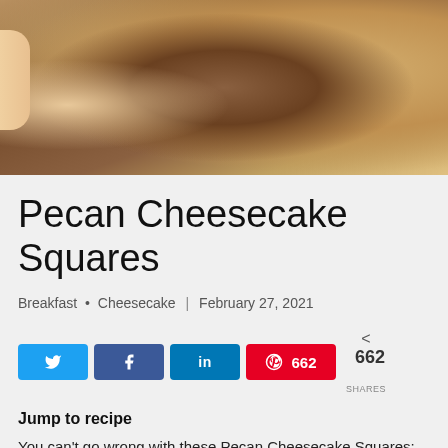[Figure (photo): Close-up photo of a Pecan Cheesecake Square being held, showing crumbly texture with pecans and caramel-colored filling]
Pecan Cheesecake Squares
Breakfast • Cheesecake | February 27, 2021
[Figure (infographic): Social share buttons: Twitter, Facebook, LinkedIn, Pinterest with 662 shares count]
Jump to recipe
You can't go wrong with these Pecan Cheesecake Squares;